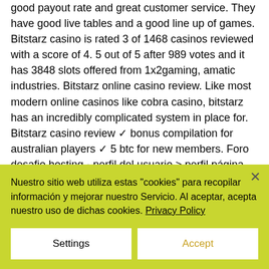good payout rate and great customer service. They have good live tables and a good line up of games. Bitstarz casino is rated 3 of 1468 casinos reviewed with a score of 4. 5 out of 5 after 989 votes and it has 3848 slots offered from 1x2gaming, amatic industries. Bitstarz online casino review. Like most modern online casinos like cobra casino, bitstarz has an incredibly complicated system in place for. Bitstarz casino review ✓ bonus compilation for australian players ✓ 5 btc for new members. Foro desafio hosting - perfil del usuario &gt; perfil página. Usuario: bitstarz casino
Nuestro sitio web utiliza estas "cookies" para recopilar información y mejorar nuestro Servicio. Al aceptar, acepta nuestro uso de dichas cookies. Privacy Policy